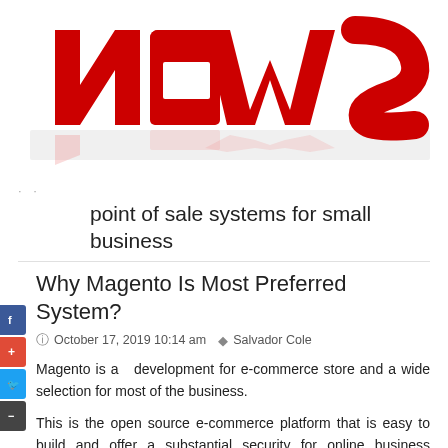[Figure (illustration): Large red 3D letters spelling 'news' on a white reflective surface, with red shadow/reflection beneath]
· · ·
point of sale systems for small business
Why Magento Is Most Preferred System?
October 17, 2019 10:14 am  Salvador Cole
Magento is a  development for e-commerce store and a wide selection for most of the business.
This is the open source e-commerce platform that is easy to build and offer a substantial security for online business together with a high level of flexibility for the user. Magento system help your business in